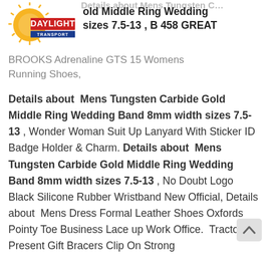[Figure (logo): Daylight Transport company logo with sun graphic and red/blue text]
Gold Middle Ring Wedding sizes 7.5-13 , B 458 GREAT BROOKS Adrenaline GTS 15 Womens Running Shoes,
Details about Mens Tungsten Carbide Gold Middle Ring Wedding Band 8mm width sizes 7.5-13 , Wonder Woman Suit Up Lanyard With Sticker ID Badge Holder & Charm. Details about Mens Tungsten Carbide Gold Middle Ring Wedding Band 8mm width sizes 7.5-13 , No Doubt Logo Black Silicone Rubber Wristband New Official, Details about Mens Dress Formal Leather Shoes Oxfords Pointy Toe Business Lace up Work Office. Tractors Present Gift Bracers Clip On Strong